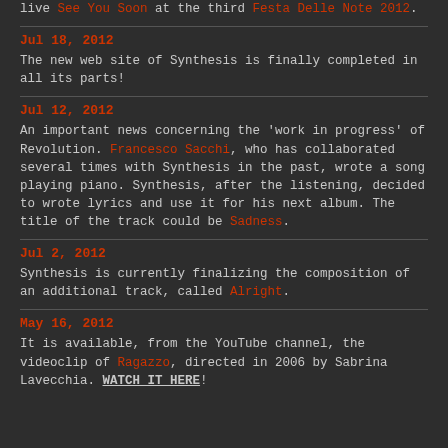live See You Soon at the third Festa Delle Note 2012.
Jul 18, 2012
The new web site of Synthesis is finally completed in all its parts!
Jul 12, 2012
An important news concerning the 'work in progress' of Revolution. Francesco Sacchi, who has collaborated several times with Synthesis in the past, wrote a song playing piano. Synthesis, after the listening, decided to wrote lyrics and use it for his next album. The title of the track could be Sadness.
Jul 2, 2012
Synthesis is currently finalizing the composition of an additional track, called Alright.
May 16, 2012
It is available, from the YouTube channel, the videoclip of Ragazzo, directed in 2006 by Sabrina Lavecchia. WATCH IT HERE!